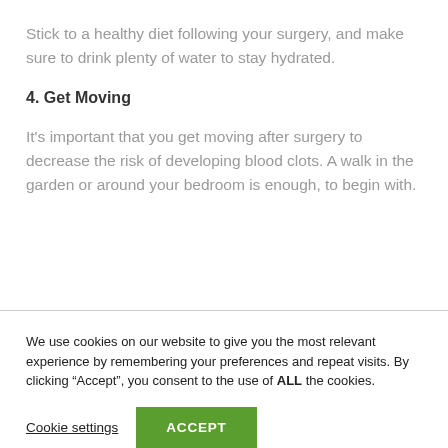Stick to a healthy diet following your surgery, and make sure to drink plenty of water to stay hydrated.
4. Get Moving
It's important that you get moving after surgery to decrease the risk of developing blood clots. A walk in the garden or around your bedroom is enough, to begin with.
We use cookies on our website to give you the most relevant experience by remembering your preferences and repeat visits. By clicking “Accept”, you consent to the use of ALL the cookies.
Cookie settings
ACCEPT